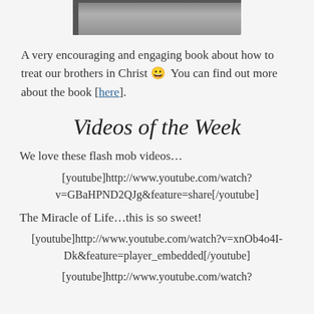[Figure (photo): Partial top of a book image cropped at top of page]
A very encouraging and engaging book about how to treat our brothers in Christ 😀  You can find out more about the book [here].
Videos of the Week
We love these flash mob videos…
[youtube]http://www.youtube.com/watch?v=GBaHPND2QJg&feature=share[/youtube]
The Miracle of Life…this is so sweet!
[youtube]http://www.youtube.com/watch?v=xnOb4o4I-Dk&feature=player_embedded[/youtube]
[youtube]http://www.youtube.com/watch?